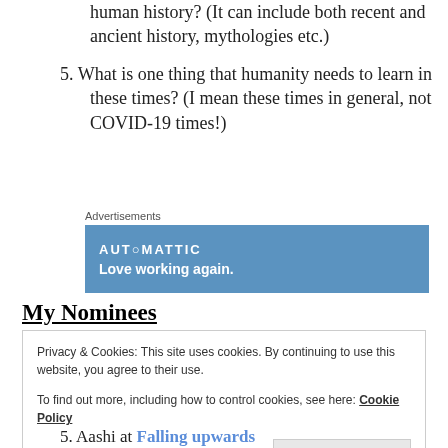human history? (It can include both recent and ancient history, mythologies etc.)
5. What is one thing that humanity needs to learn in these times? (I mean these times in general, not COVID-19 times!)
[Figure (other): Automattic advertisement banner with text 'AUTOMATTIC' and 'Love working again.']
My Nominees
Privacy & Cookies: This site uses cookies. By continuing to use this website, you agree to their use. To find out more, including how to control cookies, see here: Cookie Policy
Close and accept
5. Aashi at Falling upwards